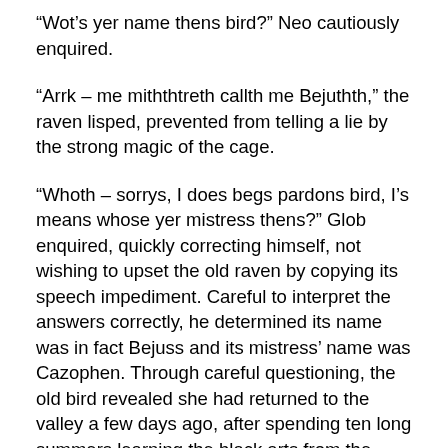“Wot’s yer name thens bird?” Neo cautiously enquired.
“Arrk – me miththtreth callth me Bejuthth,” the raven lisped, prevented from telling a lie by the strong magic of the cage.
“Whoth – sorrys, I does begs pardons bird, I’s means whose yer mistress thens?” Glob enquired, quickly correcting himself, not wishing to upset the old raven by copying its speech impediment. Careful to interpret the answers correctly, he determined its name was in fact Bejuss and its mistress’ name was Cazophen. Through careful questioning, the old bird revealed she had returned to the valley a few days ago, after spending ten long summers learning the black arts from the black wizard Crellen, who found her near death and nursed her back to health. Bejuss went on to explain how Mica’s parents and